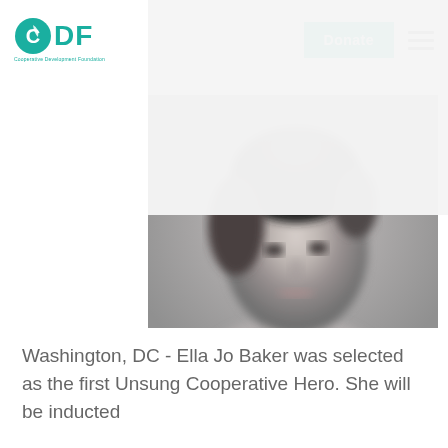CDF - Cooperative Development Foundation | Donate
[Figure (photo): Black and white portrait photograph of Ella Jo Baker, a woman with dark hair styled up, wearing what appears to be a light-colored top, photographed from the shoulders up against a grey background.]
Washington, DC - Ella Jo Baker was selected as the first Unsung Cooperative Hero. She will be inducted